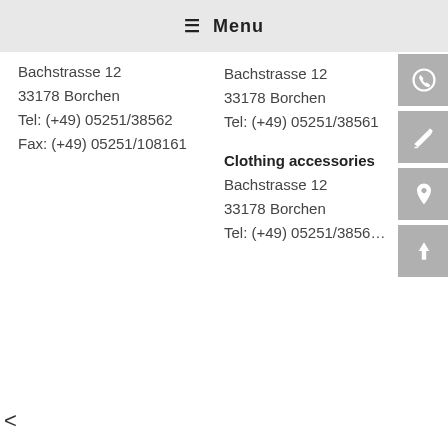≡ Menu
Bachstrasse 12
33178 Borchen
Tel: (+49) 05251/38562
Fax: (+49) 05251/108161
Bachstrasse 12
33178 Borchen
Tel: (+49) 05251/38561
Clothing accessories
Bachstrasse 12
33178 Borchen
Tel: (+49) 05251/3856…